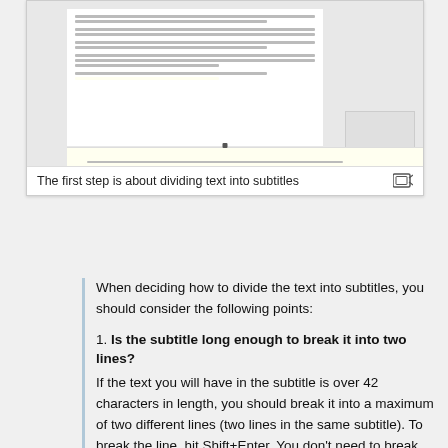[Figure (screenshot): Screenshot of a document editing interface showing text divided into subtitles]
The first step is about dividing text into subtitles
When deciding how to divide the text into subtitles, you should consider the following points:
1. Is the subtitle long enough to break it into two lines?
If the text you will have in the subtitle is over 42 characters in length, you should break it into a maximum of two different lines (two lines in the same subtitle). To break the line, hit Shift+Enter. You don't need to break subtitles shorter than 42 characters; very short subtitles broken into two lines can be distracting to the viewer.